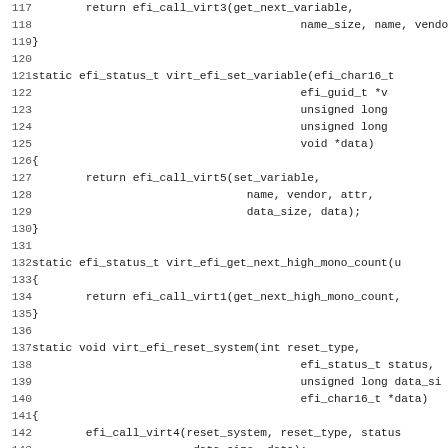[Figure (other): Source code listing (C language) showing EFI virtual runtime service wrapper functions: virt_efi_set_variable, virt_efi_get_next_high_mono_count, virt_efi_reset_system, virt_efi_set_virtual_address_map. Lines 117-148 visible.]